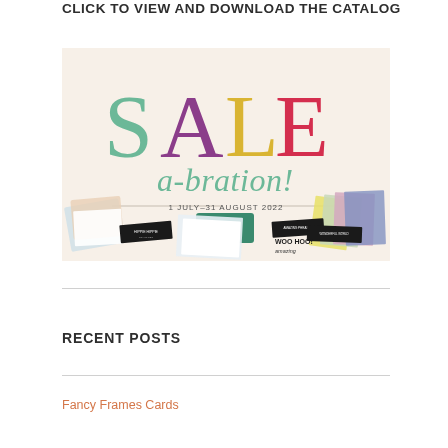CLICK TO VIEW AND DOWNLOAD THE CATALOG
[Figure (illustration): Sale-a-bration promotional banner for Stampin' Up! showing large colorful SALE text with each letter in a different color (S=teal, A=purple, L=yellow, E=red), italic script 'a-bration!' below in teal, date '1 JULY–31 AUGUST 2022', Stampin' Up! logo, and craft supplies/cards arranged at the bottom.]
RECENT POSTS
Fancy Frames Cards